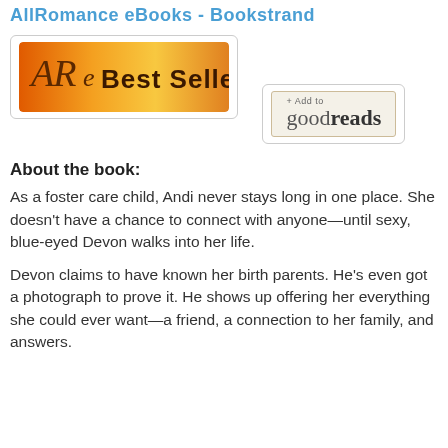AllRomance eBooks - Bookstrand
[Figure (logo): ARe Best Seller badge — orange gradient background with 'ARe Best Seller' text]
[Figure (logo): Add to goodreads button — beige/cream button with '+ Add to' and 'goodreads' text]
About the book:
As a foster care child, Andi never stays long in one place. She doesn't have a chance to connect with anyone—until sexy, blue-eyed Devon walks into her life.
Devon claims to have known her birth parents. He's even got a photograph to prove it. He shows up offering her everything she could ever want—a friend, a connection to her family, and answers.